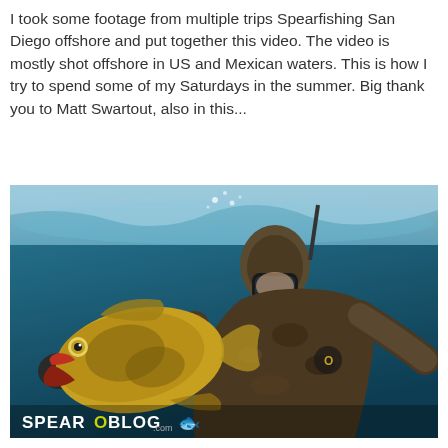I took some footage from multiple trips Spearfishing San Diego offshore and put together this video. The video is mostly shot offshore in US and Mexican waters. This is how I try to spend some of my Saturdays in the summer. Big thank you to Matt Swartout, also in this...
[Figure (photo): Underwater photo of a spearfisher in a camouflage wetsuit and diving mask holding up a large fish (kelp bass/calico bass) toward the camera. The waterline is visible above with bubbles breaking the surface. The image has a SPEAROBLOG.com watermark logo in the bottom left corner.]